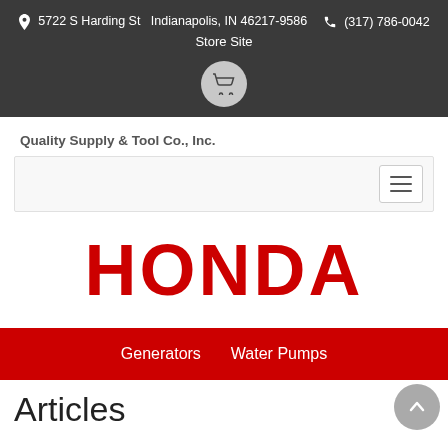📍 5722 S Harding St   Indianapolis, IN 46217-9586   📞 (317) 786-0042   Store Site
Quality Supply & Tool Co., Inc.
[Figure (logo): Honda logo in red bold text]
Generators   Water Pumps
Articles